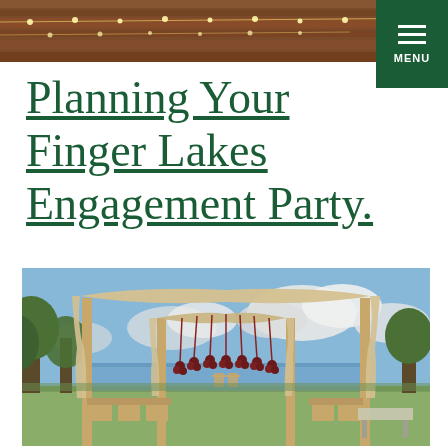[Figure (photo): Top banner strip showing wooden ceiling beams with string lights, partial view of a venue interior]
[Figure (other): Dark green menu button with three horizontal white lines and the word MENU in white]
Planning Your Finger Lakes Engagement Party.
[Figure (photo): Outdoor ceremony setup at Finger Lakes venue: a large draped chuppah/arch with cream fabric and hanging floral decorations in dark red, chairs arranged beneath, trees and lake visible in background under blue sky with clouds]